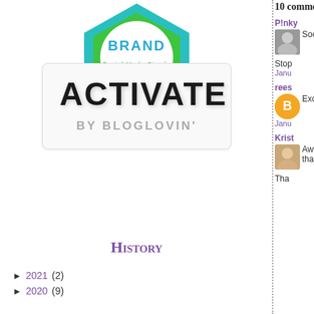[Figure (logo): Hexagonal badge with 'BRAND Social Made Simple' text, teal/green colors, partially visible at top]
[Figure (logo): White rounded rectangle box with bold text 'ACTIVATE' and grey text 'BY BLOGLOVIN']
History
► 2021 (2)
► 2020 (9)
10 comme...
P!nky
Soo o
Stop
Janu
rees
Excit
Janu
Krist
Awww that
Tha